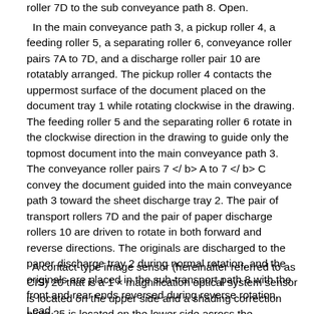roller 7D to the sub conveyance path 8. Open.
In the main conveyance path 3, a pickup roller 4, a feeding roller 5, a separating roller 6, conveyance roller pairs 7A to 7D, and a discharge roller pair 10 are rotatably arranged. The pickup roller 4 contacts the uppermost surface of the document placed on the document tray 1 while rotating clockwise in the drawing. The feeding roller 5 and the separating roller 6 rotate in the clockwise direction in the drawing to guide only the topmost document into the main conveyance path 3. The conveyance roller pairs 7 </ b> A to 7 </ b> C convey the document guided into the main conveyance path 3 toward the sheet discharge tray 2. The pair of transport rollers 7D and the pair of paper discharge rollers 10 are driven to rotate in both forward and reverse directions. The originals are discharged to the paper discharge tray 2 during normal rotation, and the originals are placed in the sub-transport path 8 with the front and rear ends reversed during reverse rotation. Lead.
A contact-type image sensor (hereinafter referred to as CIS) 20 that is a 1 × magnification optical system sensor is located on the upper side and a shading correction plate 25 is located on the lower side across the conveyance roller